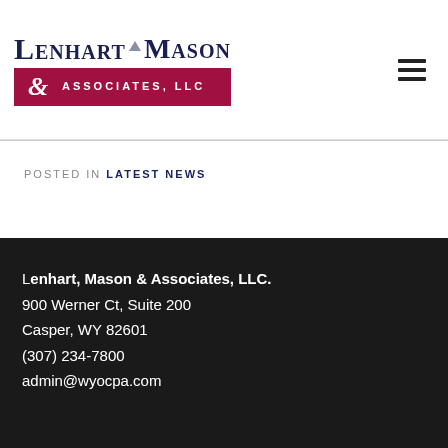[Figure (logo): Lenhart Mason & Associates, LLC company logo with dark navy text on top and crimson/maroon banner below]
POSTED IN LATEST NEWS
Lenhart, Mason & Associates, LLC.
900 Werner Ct, Suite 200
Casper, WY 82601
(307) 234-7800
admin@wyocpa.com